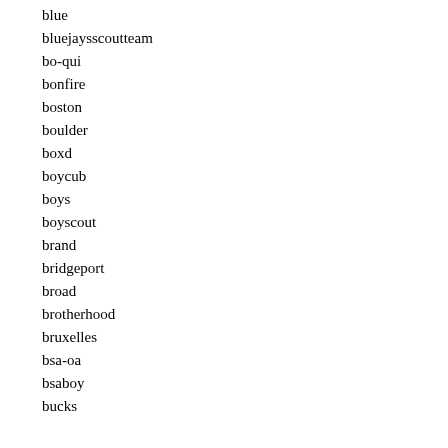blue
bluejaysscoutteam
bo-qui
bonfire
boston
boulder
boxd
boycub
boys
boyscout
brand
bridgeport
broad
brotherhood
bruxelles
bsa-oa
bsaboy
bucks